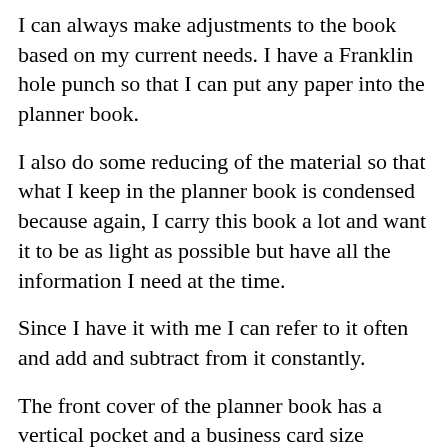I can always make adjustments to the book based on my current needs. I have a Franklin hole punch so that I can put any paper into the planner book.
I also do some reducing of the material so that what I keep in the planner book is condensed because again, I carry this book a lot and want it to be as light as possible but have all the information I need at the time.
Since I have it with me I can refer to it often and add and subtract from it constantly.
The front cover of the planner book has a vertical pocket and a business card size pocket. I put a 3 inch by 5 inch notebook in the front vertical pocket along with some index cards.
Share [Facebook icon] [Twitter icon] [share arrow]
The notebook is fo                          ls. I like a